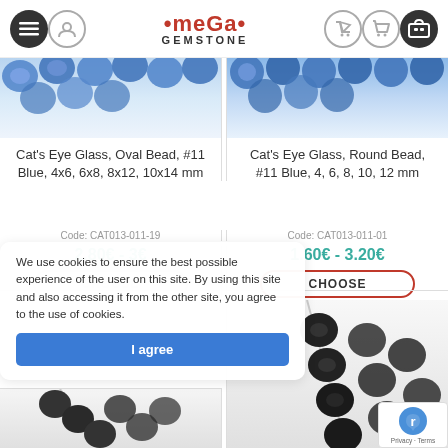MEGA GEMSTONE
[Figure (photo): Blue oval glass beads product image - top cropped]
Cat's Eye Glass, Oval Bead, #11 Blue, 4x6, 6x8, 8x12, 10x14 mm
Code: CAT013-011-19
2.80€ - 3€
[Figure (photo): Blue round glass beads product image - top cropped]
Cat's Eye Glass, Round Bead, #11 Blue, 4, 6, 8, 10, 12 mm
Code: CAT013-011-01
1.60€ - 3.20€
CHOOSE
CHOOSE
We use cookies to ensure the best possible experience of the user on this site. By using this site and also accessing it from the other site, you agree to the use of cookies.
I agree
[Figure (photo): Dark/black oval beads on wire - bottom cropped]
[Figure (photo): Dark round beads on wire - bottom cropped]